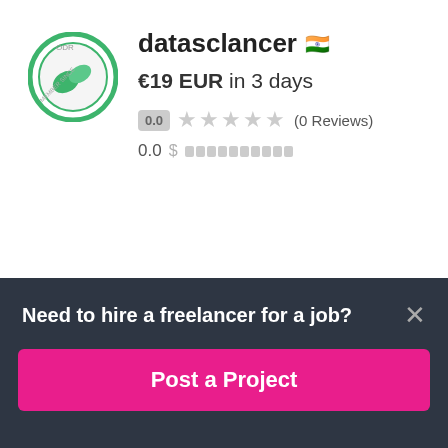[Figure (illustration): Profile avatar for datasclancer: circular badge with green border and leaf/data icon in the center]
datasclancer 🇮🇳
€19 EUR in 3 days
0.0 ★★★★★ (0 Reviews)
0.0 $▓▓▓▓▓▓▓▓▓▓
[Figure (photo): Profile photo for mwwaqas246: man in suit with bow tie]
mwwaqas246 🇵🇰
€15 EUR in 7 days
5.0 ★★★★★ (1 Review)
Need to hire a freelancer for a job?
Post a Project